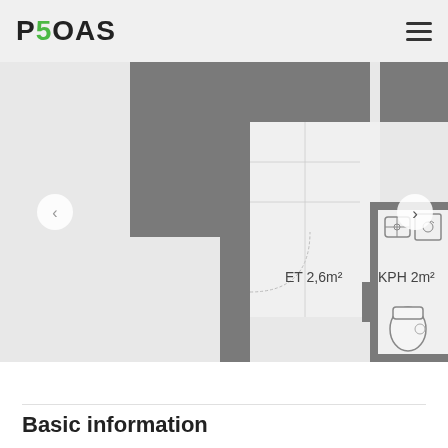P5OAS
[Figure (schematic): Apartment floor plan showing rooms labeled ET 2,6m² and KPH 2m², with L-shaped wall layout, entry area with arc door swing, and bathroom with fixtures (sink, toilet). Navigation arrows on left and right sides.]
Basic information